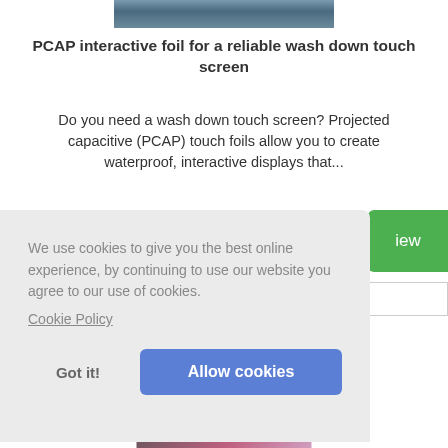[Figure (photo): Partial photo of a touchscreen device at the top of the page]
PCAP interactive foil for a reliable wash down touch screen
Do you need a wash down touch screen? Projected capacitive (PCAP) touch foils allow you to create waterproof, interactive displays that...
We use cookies to give you the best online experience, by continuing to use our website you agree to our use of cookies.
Cookie Policy
Got it!
Allow cookies
[Figure (photo): Partial photo visible at bottom of page]